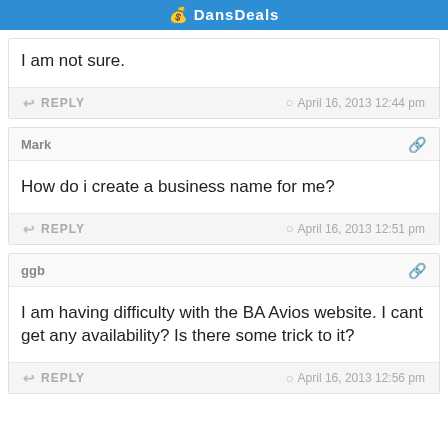DansDeals
I am not sure.
REPLY   April 16, 2013 12:44 pm
Mark
How do i create a business name for me?
REPLY   April 16, 2013 12:51 pm
ggb
I am having difficulty with the BA Avios website. I cant get any availability? Is there some trick to it?
REPLY   April 16, 2013 12:56 pm